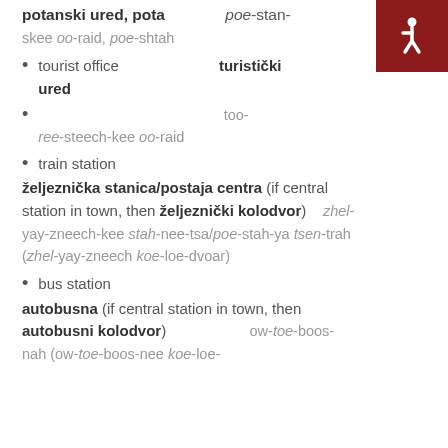[Figure (illustration): Dark red square with white wheelchair accessibility symbol (International Symbol of Access)]
potanski ured, pota   poe-stan-skee oo-raid, poe-shtah
tourist office   turistički ured
too-ree-steech-kee oo-raid
train station
željeznička stanica/postaja centra (if central station in town, then željeznički kolodvor)   zhel-yay-zneech-kee stah-nee-tsa/poe-stah-ya tsen-trah (zhel-yay-zneech koe-loe-dvoar)
bus station
autobusna (if central station in town, then autobusni kolodvor)   ow-toe-boos-nah (ow-toe-boos-nee koe-loe-